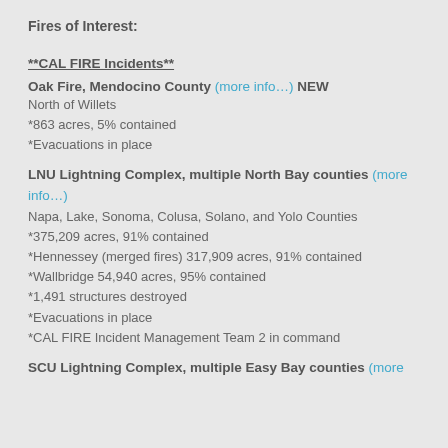Fires of Interest:
**CAL FIRE Incidents**
Oak Fire, Mendocino County (more info…) NEW
North of Willets
*863 acres, 5% contained
*Evacuations in place
LNU Lightning Complex, multiple North Bay counties (more info…)
Napa, Lake, Sonoma, Colusa, Solano, and Yolo Counties
*375,209 acres, 91% contained
*Hennessey (merged fires) 317,909 acres, 91% contained
*Wallbridge 54,940 acres, 95% contained
*1,491 structures destroyed
*Evacuations in place
*CAL FIRE Incident Management Team 2 in command
SCU Lightning Complex, multiple Easy Bay counties (more